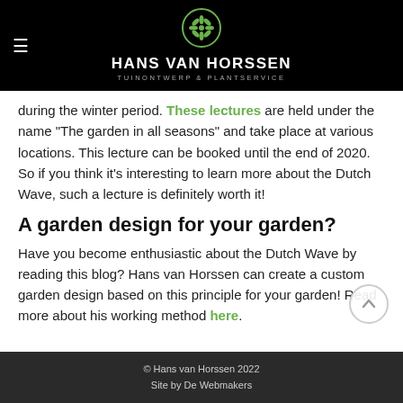HANS VAN HORSSEN
TUINONTWERP & PLANTSERVICE
during the winter period. These lectures are held under the name "The garden in all seasons" and take place at various locations. This lecture can be booked until the end of 2020. So if you think it's interesting to learn more about the Dutch Wave, such a lecture is definitely worth it!
A garden design for your garden?
Have you become enthusiastic about the Dutch Wave by reading this blog? Hans van Horssen can create a custom garden design based on this principle for your garden! Read more about his working method here.
© Hans van Horssen 2022
Site by De Webmakers